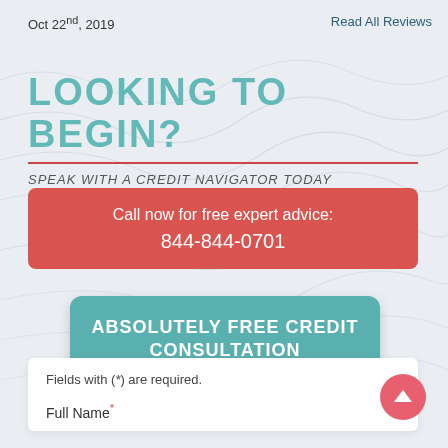Oct 22nd, 2019
Read All Reviews
LOOKING TO BEGIN?
SPEAK WITH A CREDIT NAVIGATOR TODAY
Call now for free expert advice: 844-844-0701
ABSOLUTELY FREE CREDIT CONSULTATION
Fields with (*) are required.
Full Name*